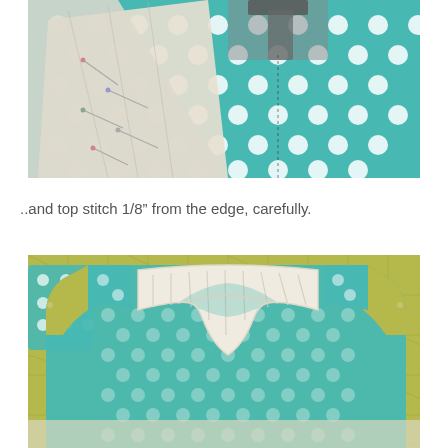[Figure (photo): Photo of fabric being sewn under a sewing machine foot. White/cream fabric pieces with pins on top of teal/turquoise patterned fabric with white quatrefoil/flower shapes. Sewing machine presser foot visible at top.]
..and top stitch 1/8” from the edge, carefully.
[Figure (photo): Photo of a completed garment bodice piece laid flat on a green cutting mat. The bodice is made from teal/turquoise houndstooth or geometric patterned fabric with a white/cream front yoke/bib panel that has visible topstitching lines. The neckline is scooped and there are shoulder straps visible.]